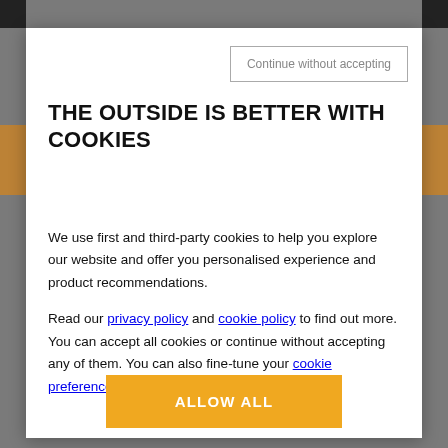Continue without accepting
THE OUTSIDE IS BETTER WITH COOKIES
We use first and third-party cookies to help you explore our website and offer you personalised experience and product recommendations. Read our privacy policy and cookie policy to find out more. You can accept all cookies or continue without accepting any of them. You can also fine-tune your cookie preferences.
ALLOW ALL